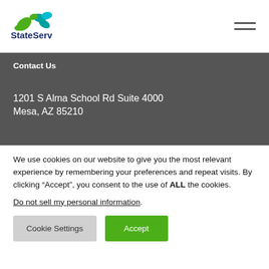[Figure (logo): StateServ logo with green and teal leaf/animal shapes and StateServ text in dark blue]
Contact Us
1201 S Alma School Rd Suite 4000
Mesa, AZ 85210
We use cookies on our website to give you the most relevant experience by remembering your preferences and repeat visits. By clicking “Accept”, you consent to the use of ALL the cookies.
Do not sell my personal information.